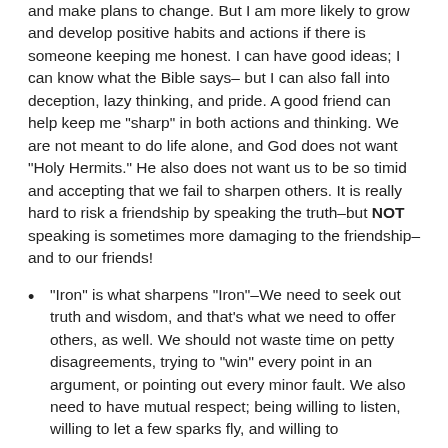and make plans to change. But I am more likely to grow and develop positive habits and actions if there is someone keeping me honest. I can have good ideas; I can know what the Bible says– but I can also fall into deception, lazy thinking, and pride. A good friend can help keep me "sharp" in both actions and thinking. We are not meant to do life alone, and God does not want "Holy Hermits." He also does not want us to be so timid and accepting that we fail to sharpen others. It is really hard to risk a friendship by speaking the truth–but NOT speaking is sometimes more damaging to the friendship– and to our friends!
"Iron" is what sharpens "Iron"–We need to seek out truth and wisdom, and that's what we need to offer others, as well. We should not waste time on petty disagreements, trying to "win" every point in an argument, or pointing out every minor fault. We also need to have mutual respect; being willing to listen, willing to let a few sparks fly, and willing to